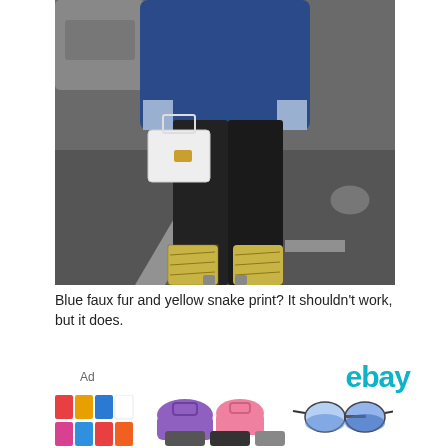[Figure (photo): Street style photo showing a person from shoulders down wearing a blue faux fur coat, dark skinny jeans, holding a white structured handbag with gold clasp, and wearing yellow snake print ankle boots, standing on a city street.]
Blue faux fur and yellow snake print? It shouldn't work, but it does.
Ad
[Figure (logo): eBay logo in teal/cyan color]
[Figure (photo): eBay advertisement showing three product images: colorful tank tops/sleeveless shirts in multiple colors, handbags/purses in purple and pink, and blue gradient aviator sunglasses.]